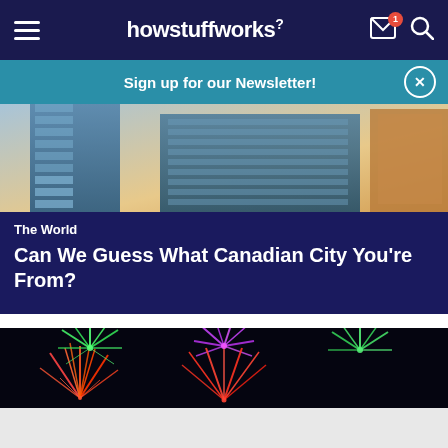howstuffworks
Sign up for our Newsletter!
[Figure (photo): Upward view of glass skyscrapers against a sky]
The World
Can We Guess What Canadian City You're From?
[Figure (photo): Colorful fireworks display against a dark night sky]